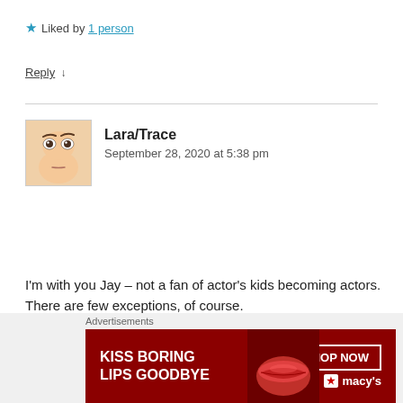★ Liked by 1 person
Reply ↓
Lara/Trace
September 28, 2020 at 5:38 pm
I'm with you Jay – not a fan of actor's kids becoming actors. There are few exceptions, of course.
★ Like
Reply ↓
[Figure (photo): Small avatar photo showing a face with expressive eyes and neutral expression on a skin-toned background]
Advertisements
[Figure (photo): Macy's advertisement banner: dark red background with text 'KISS BORING LIPS GOODBYE', a close-up of lips, and a 'SHOP NOW' button with Macy's star logo]